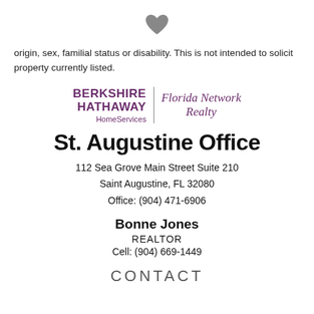[Figure (illustration): Gray heart icon centered at top of page]
origin, sex, familial status or disability. This is not intended to solicit property currently listed.
[Figure (logo): Berkshire Hathaway HomeServices | Florida Network Realty logo]
St. Augustine Office
112 Sea Grove Main Street Suite 210
Saint Augustine, FL 32080
Office: (904) 471-6906
Bonne Jones
REALTOR
Cell: (904) 669-1449
CONTACT